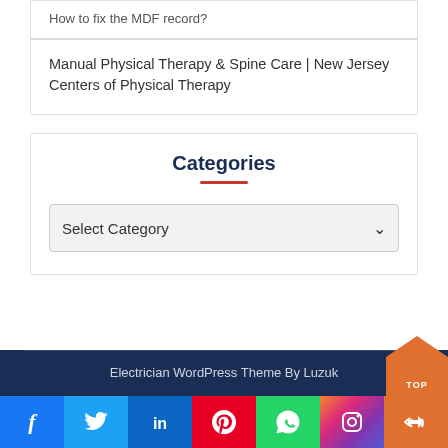How to fix the MDF record?
Manual Physical Therapy & Spine Care | New Jersey Centers of Physical Therapy
Categories
Select Category
Electrician WordPress Theme By Luzuk